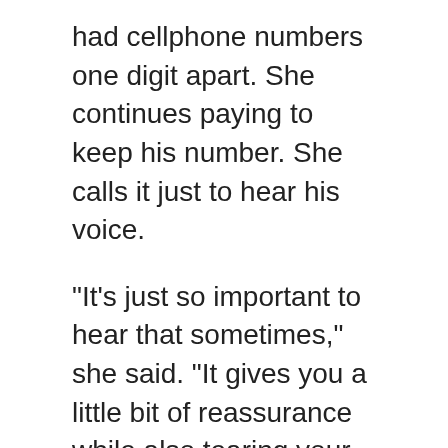had cellphone numbers one digit apart. She continues paying to keep his number. She calls it just to hear his voice.
"It's just so important to hear that sometimes," she said. "It gives you a little bit of reassurance while also tearing your heart out."
Some have offered solace in poetry. In Philadelphia, poet and social worker Trapeta Mayson, created a 24-hour poetry hotline called Healing Verse. Traffic to the Academy of American Poets' poets.org website rose during the pandemic.
Brian Sonia-Wallace, poet laureate of West Hollywood, California, has traveled the country writing poems for hire. He imagines a memorial